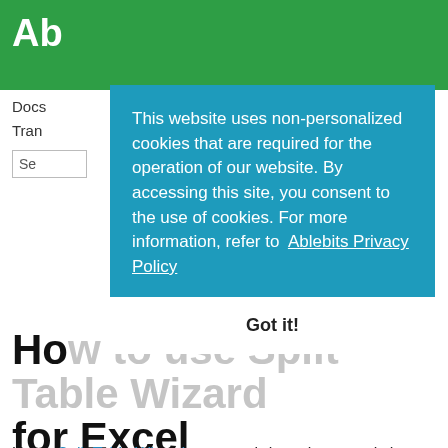Ab
Docs
Tran
Se
[Figure (screenshot): Cookie consent modal overlay on blue background reading: This website uses non-personalized cookies that are required for the operation of our website. By accessing this site, you consent to the use of cookies. For more information, refer to Ablebits Privacy Policy. With a 'Got it!' button below.]
How to use Split Table Wizard for Excel
Using Split Table Wizard, you can bring a large worksheet to multiple sheets based on the values in the selected key columns. The tool works with sheets of any size, so you can divide your summary tables the way you need with minimum efforts. Below you can learn how to use this add-in.